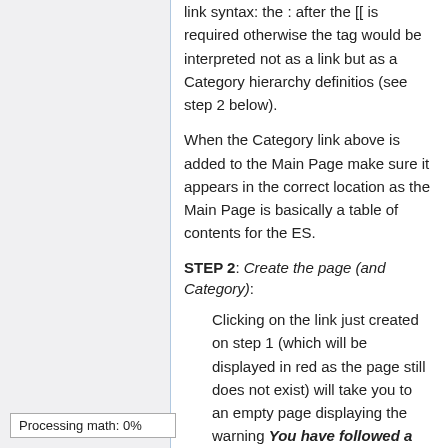link syntax: the : after the [[ is required otherwise the tag would be interpreted not as a link but as a Category hierarchy definitios (see step 2 below).
When the Category link above is added to the Main Page make sure it appears in the correct location as the Main Page is basically a table of contents for the ES.
STEP 2: Create the page (and Category):
Clicking on the link just created on step 1 (which will be displayed in red as the page still does not exist) will take you to an empty page displaying the warning You have followed a link to a page that does not exist yet. Enter the content of the new
Processing math: 0%